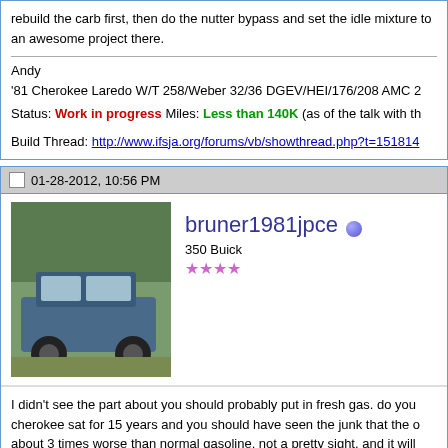rebuild the carb first, then do the nutter bypass and set the idle mixture to an awesome project there.
Andy
'81 Cherokee Laredo W/T 258/Weber 32/36 DGEV/HEI/176/208 AMC 2
Status: Work in progress Miles: Less than 140K (as of the talk with th
Build Thread: http://www.ifsja.org/forums/vb/showthread.php?t=151814
01-28-2012, 10:56 PM
bruner1981jpce
350 Buick
★★★★
I didn't see the part about you should probably put in fresh gas. do you cherokee sat for 15 years and you should have seen the junk that the o about 3 times worse than normal gasoline. not a pretty sight, and it will pump, that should be a top priority. and just another tip that it took me a if you first take off the bracket on the front holding the idle solenoid and didn't figure that out before.
Andy
'81 Cherokee Laredo W/T 258/Weber 32/36 DGEV/HEI/176/208 AMC 2
Status: Work in progress Miles: Less than 140K (as of the talk with th